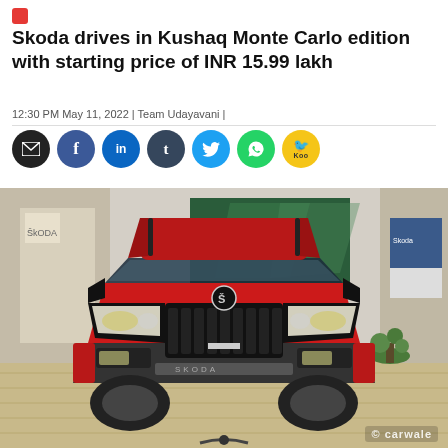Skoda drives in Kushaq Monte Carlo edition with starting price of INR 15.99 lakh
12:30 PM May 11, 2022 | Team Udayavani |
[Figure (other): Social sharing buttons: email (black), Facebook (blue), LinkedIn (blue), Tumblr (dark), Twitter (light blue), WhatsApp (green), Koo (yellow)]
[Figure (photo): Front view of a red Skoda Kushaq Monte Carlo edition SUV displayed in a showroom with wooden flooring and green artwork on the wall. Watermark: carwale]